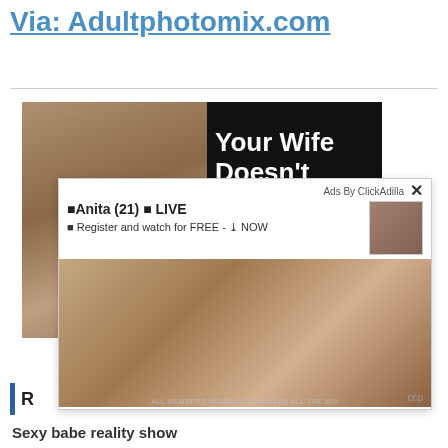Via: Adultphotomix.com
[Figure (photo): Adult website advertisement banner showing partial image with text 'Your Wife Doesn't' on black background]
[Figure (photo): Popup advertisement overlay with 'Ads By ClickAdilla' label, close button (X), title 'Anita (21) LIVE', subtitle 'Register and watch for FREE - NOW', thumbnail image, and large photo of a woman in fishnet stockings with 'ccp' label]
R
Sexy babe reality show